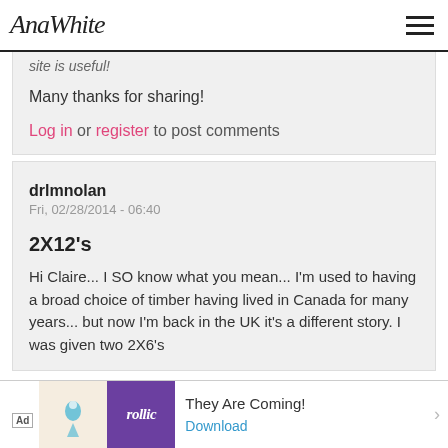AnaWhite
site is useful!
Many thanks for sharing!
Log in or register to post comments
drlmnolan
Fri, 02/28/2014 - 06:40
2X12's
Hi Claire... I SO know what you mean... I'm used to having a broad choice of timber having lived in Canada for many years... but now I'm back in the UK it's a different story. I was given two 2X6's
[Figure (other): Ad banner: 'They Are Coming!' game advertisement by Rollic with Download link]